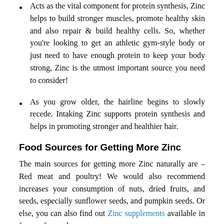Acts as the vital component for protein synthesis, Zinc helps to build stronger muscles, promote healthy skin and also repair & build healthy cells. So, whether you're looking to get an athletic gym-style body or just need to have enough protein to keep your body strong, Zinc is the utmost important source you need to consider!
As you grow older, the hairline begins to slowly recede. Intaking Zinc supports protein synthesis and helps in promoting stronger and healthier hair.
Food Sources for Getting More Zinc
The main sources for getting more Zinc naturally are – Red meat and poultry! We would also recommend increases your consumption of nuts, dried fruits, and seeds, especially sunflower seeds, and pumpkin seeds. Or else, you can also find out Zinc supplements available in forms of capsules,